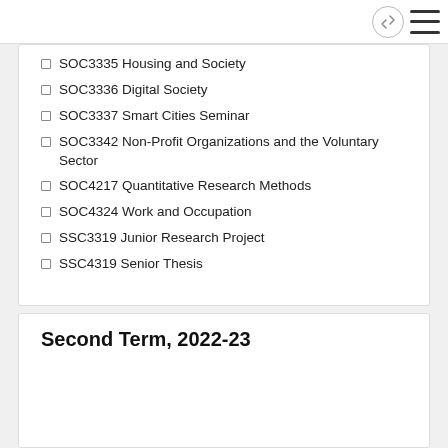SOC3335 Housing and Society
SOC3336 Digital Society
SOC3337 Smart Cities Seminar
SOC3342 Non-Profit Organizations and the Voluntary Sector
SOC4217 Quantitative Research Methods
SOC4324 Work and Occupation
SSC3319 Junior Research Project
SSC4319 Senior Thesis
Second Term, 2022-23